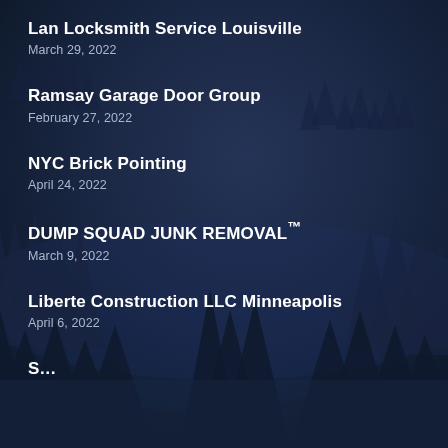Lan Locksmith Service Louisville
March 29, 2022
Ramsay Garage Door Group
February 27, 2022
NYC Brick Pointing
April 24, 2022
DUMP SQUAD JUNK REMOVAL™
March 9, 2022
Liberte Construction LLC Minneapolis
April 6, 2022
S…